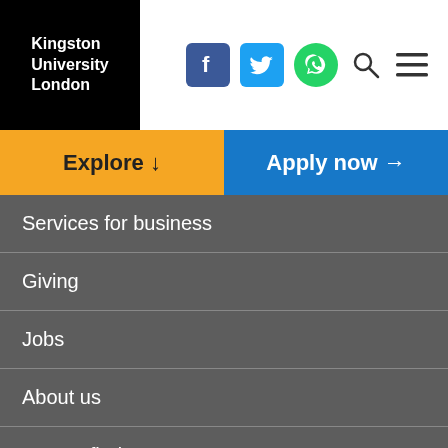[Figure (logo): Kingston University London logo on black background]
[Figure (infographic): Social media icons: Facebook, Twitter, WhatsApp, Search, Menu]
Explore ↓
Apply now →
Services for business
Giving
Jobs
About us
How to find us
Contact us
Disclaimer    Copyright    Website accessibility    Website feedback